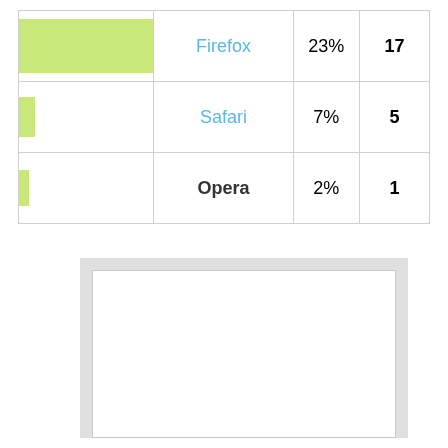| Bar | Browser | Percentage | Count |
| --- | --- | --- | --- |
| [bar] | Firefox | 23% | 17 |
| [bar] | Safari | 7% | 5 |
| [bar] | Opera | 2% | 1 |
[Figure (screenshot): A UI panel or browser window screenshot placeholder showing a light gray header bar and a white content area with a gray border.]